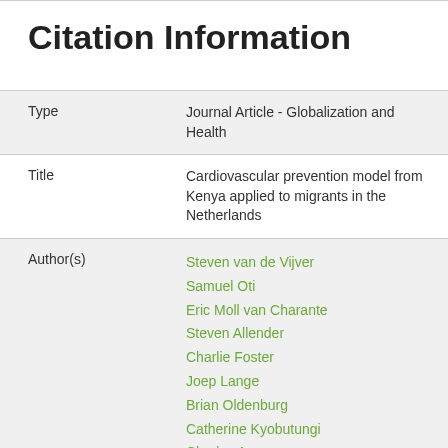Citation Information
| Field | Value |
| --- | --- |
| Type | Journal Article - Globalization and Health |
| Title | Cardiovascular prevention model from Kenya applied to migrants in the Netherlands |
| Author(s) | Steven van de Vijver
Samuel Oti
Eric Moll van Charante
Steven Allender
Charlie Foster
Joep Lange
Brian Oldenburg
Catherine Kyobutungi
Charles Agyemang |